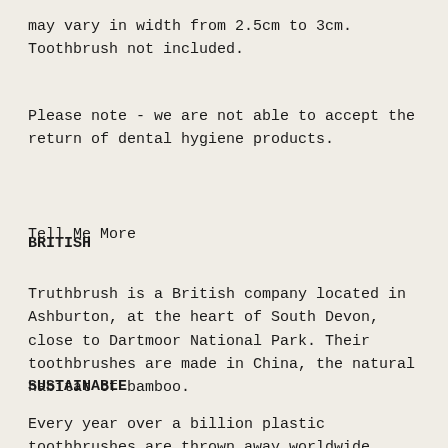may vary in width from 2.5cm to 3cm. Toothbrush not included.
Please note - we are not able to accept the return of dental hygiene products.
Tell Me More
BRITISH
Truthbrush is a British company located in Ashburton, at the heart of South Devon, close to Dartmoor National Park. Their toothbrushes are made in China, the natural habitat of bamboo.
SUSTAINABLE
Every year over a billion plastic toothbrushes are thrown away worldwide, ending up in landfill, in the sea or washed up on a beach. Using a bamboo toothbrush with a